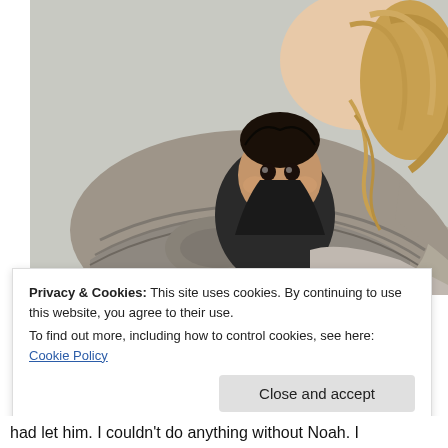[Figure (photo): A woman with long blonde hair carries a baby in a grey fabric baby wrap/sling. The baby, with curly dark hair, peeks out from the wrap and looks toward the camera. The background is a plain light grey/white wall.]
Privacy & Cookies: This site uses cookies. By continuing to use this website, you agree to their use.
To find out more, including how to control cookies, see here: Cookie Policy
Close and accept
had let him. I couldn't do anything without Noah. I